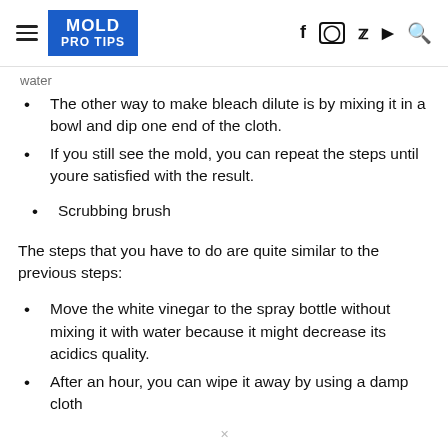MOLD PRO TIPS
water
The other way to make bleach dilute is by mixing it in a bowl and dip one end of the cloth.
If you still see the mold, you can repeat the steps until youre satisfied with the result.
Scrubbing brush
The steps that you have to do are quite similar to the previous steps:
Move the white vinegar to the spray bottle without mixing it with water because it might decrease its acidics quality.
After an hour, you can wipe it away by using a damp cloth